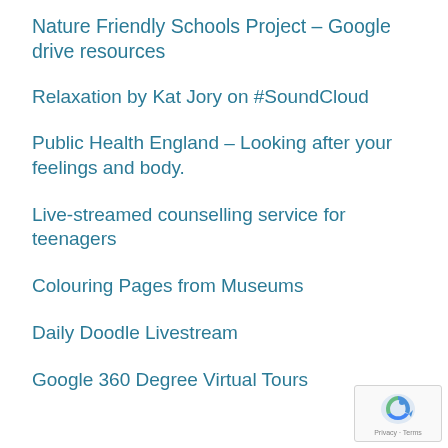Nature Friendly Schools Project – Google drive resources
Relaxation by Kat Jory on #SoundCloud
Public Health England – Looking after your feelings and body.
Live-streamed counselling service for teenagers
Colouring Pages from Museums
Daily Doodle Livestream
Google 360 Degree Virtual Tours